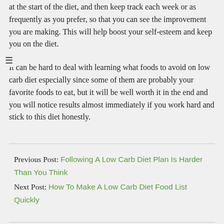at the start of the diet, and then keep track each week or as frequently as you prefer, so that you can see the improvement you are making. This will help boost your self-esteem and keep you on the diet.
It can be hard to deal with learning what foods to avoid on low carb diet especially since some of them are probably your favorite foods to eat, but it will be well worth it in the end and you will notice results almost immediately if you work hard and stick to this diet honestly.
Previous Post: Following A Low Carb Diet Plan Is Harder Than You Think
Next Post: How To Make A Low Carb Diet Food List Quickly